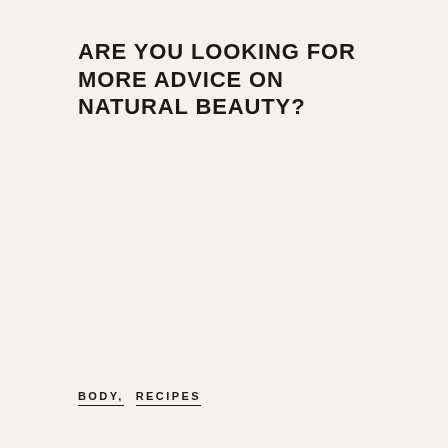ARE YOU LOOKING FOR MORE ADVICE ON NATURAL BEAUTY?
BODY, RECIPES